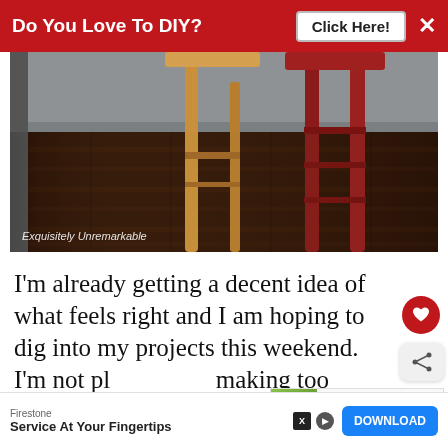Do You Love To DIY? Click Here! ×
[Figure (photo): Photo of bar stools — one natural wood colored and two red — on a dark wood plank floor, with caption 'Exquisitely Unremarkable']
Exquisitely Unremarkable
I'm already getting a decent idea of what feels right and I am hoping to dig into my projects this weekend. I'm not planning on making too many changes. I'm going to
[Figure (other): What's Next panel showing: 'Decorating For Fall: The...']
Firestone
Service At Your Fingertips
DOWNLOAD